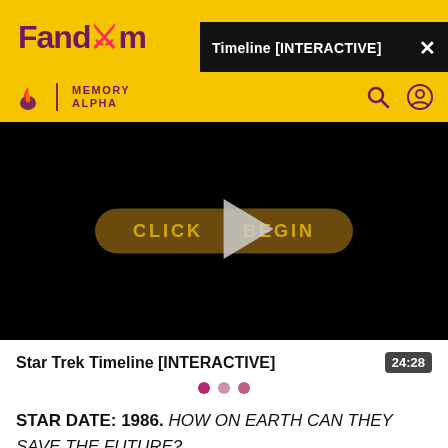[Figure (screenshot): Fandom Memory Alpha website header with yellow background, Fandom logo, Memory Alpha branding, black notification bar showing 'Timeline [INTERACTIVE]' with close X button, and navigation icons for search and user profile]
[Figure (screenshot): Video player with black background showing a 'CLICK TO BEGIN' button in dark gold color and a large play triangle in center]
Star Trek Timeline [INTERACTIVE]
STAR DATE: 1986. HOW ON EARTH CAN THEY SAVE THE FUTURE?